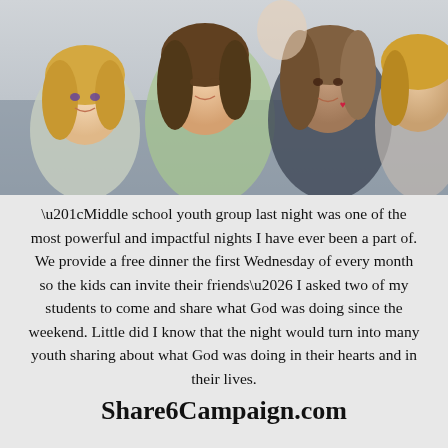[Figure (photo): Group photo of teenage girls smiling at the camera, appearing to be at a youth group event. Four girls visible, some with face paint/makeup.]
“Middle school youth group last night was one of the most powerful and impactful nights I have ever been a part of. We provide a free dinner the first Wednesday of every month so the kids can invite their friends… I asked two of my students to come and share what God was doing since the weekend. Little did I know that the night would turn into many youth sharing about what God was doing in their hearts and in their lives.
Share6Campaign.com